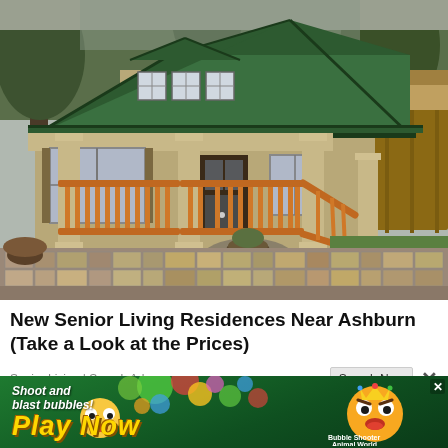[Figure (photo): Exterior photo of a craftsman-style single-story home with a green metal roof, tan/beige siding, a wide covered front porch with orange-stained wood railings and square columns, stone-surround steps, a potted plant, and a brick paver driveway/patio in the foreground. Pine trees visible in background.]
New Senior Living Residences Near Ashburn (Take a Look at the Prices)
Senior Living | Search Ads
[Figure (screenshot): Mobile banner advertisement for a bubble shooter game. Green background with colorful bubbles, cartoon animal characters, bold yellow italic 'Play Now' text, and smaller text 'Shoot and blast bubbles!' on the left. Right side shows game name 'Bubble Shooter Animal World'.]